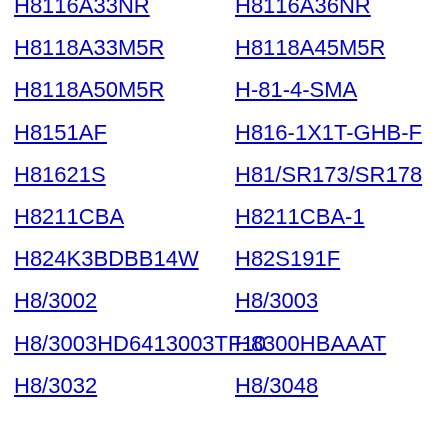H8116A33NR
H8116A36NR
H8118A33M5R
H8118A45M5R
H8118A50M5R
H-81-4-SMA
H8151AF
H816-1X1T-GHB-F
H81621S
H81/SR173/SR178
H8211CBA
H8211CBA-1
H824K3BDBB14W
H82S191F
H8/3002
H8/3003
H8/3003HD6413003TF10
H8300HBAAAT
H8/3032
H8/3048